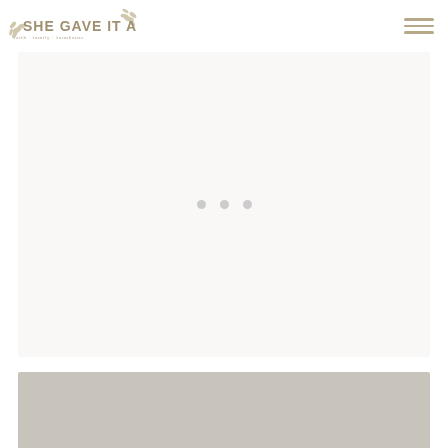She Gave It A Go — Faith · Family · Farmhouse
[Figure (other): White hero/slider area with three small grey loading dots centered, indicating a loading carousel or slideshow]
[Figure (photo): Grey-toned image placeholder or partially loaded photo section at the bottom of the page]